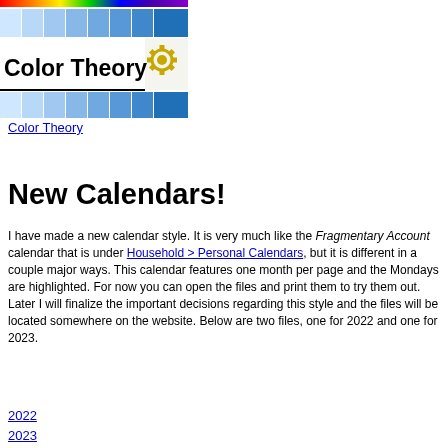[Figure (logo): Color Theory website logo with rainbow bar, blue color swatches, bold 'Color Theory' text, and a gear icon]
Color Theory
New Calendars!
I have made a new calendar style. It is very much like the Fragmentary Account calendar that is under Household > Personal Calendars, but it is different in a couple major ways. This calendar features one month per page and the Mondays are highlighted. For now you can open the files and print them to try them out. Later I will finalize the important decisions regarding this style and the files will be located somewhere on the website. Below are two files, one for 2022 and one for 2023.
2022
2023